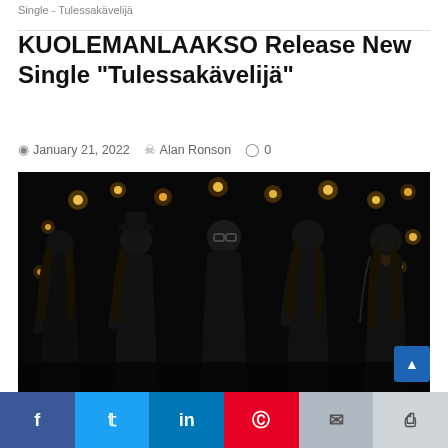Single - Tulessakävelijä
KUOLEMANLAAKSO Release New Single “Tulessakävelijä”
January 21, 2022  Alan Ronson  0
[Figure (photo): Band photo of KUOLEMANLAAKSO — five members standing against a dark background with candles, all dressed in black.]
Social sharing buttons: Facebook, Twitter, LinkedIn, Pinterest, Email, Print